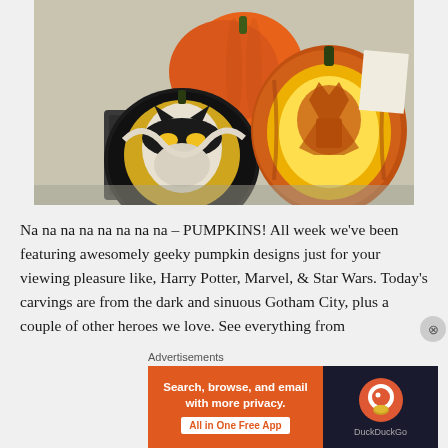[Figure (photo): Three Halloween pumpkins: a black painted pumpkin with Batman/Catwoman face in yellow and white, a glowing carved pumpkin with Batman silhouette, and a plain orange pumpkin behind them, arranged on a gray surface with a dark bin/container in the background.]
Na na na na na na na na – PUMPKINS! All week we've been featuring awesomely geeky pumpkin designs just for your viewing pleasure like, Harry Potter, Marvel, & Star Wars. Today's carvings are from the dark and sinuous Gotham City, plus a couple of other heroes we love. See everything from
Advertisements
[Figure (screenshot): DuckDuckGo advertisement banner. Left orange section: 'Search, browse, and email with more privacy. All in One Free App'. Right dark section with DuckDuckGo duck logo and 'DuckDuckGo' text.]